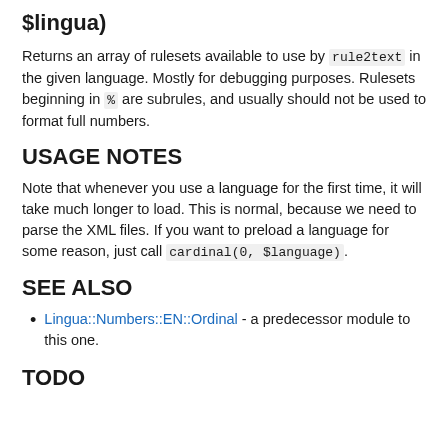$lingua)
Returns an array of rulesets available to use by rule2text in the given language. Mostly for debugging purposes. Rulesets beginning in % are subrules, and usually should not be used to format full numbers.
USAGE NOTES
Note that whenever you use a language for the first time, it will take much longer to load. This is normal, because we need to parse the XML files. If you want to preload a language for some reason, just call cardinal(0, $language).
SEE ALSO
Lingua::Numbers::EN::Ordinal - a predecessor module to this one.
TODO